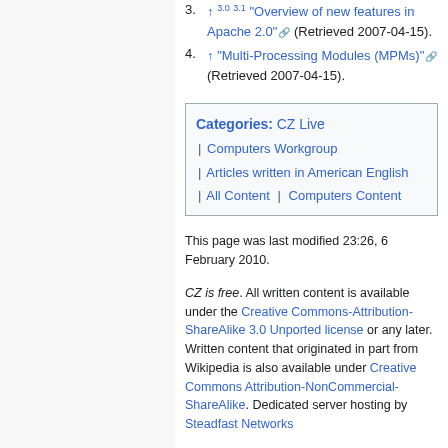3. ↑ 3.0 3.1 "Overview of new features in Apache 2.0" (Retrieved 2007-04-15).
4. ↑ "Multi-Processing Modules (MPMs)" (Retrieved 2007-04-15).
Categories: CZ Live | Computers Workgroup | Articles written in American English | All Content | Computers Content
This page was last modified 23:26, 6 February 2010.
CZ is free. All written content is available under the Creative Commons-Attribution-ShareAlike 3.0 Unported license or any later. Written content that originated in part from Wikipedia is also available under Creative Commons Attribution-NonCommercial-ShareAlike. Dedicated server hosting by Steadfast Networks